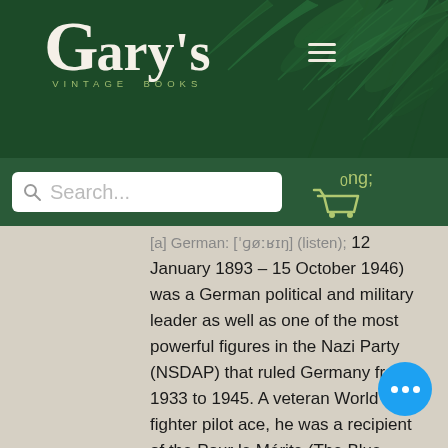Gary's Vintage Books
[Figure (screenshot): Website header with Gary's Vintage Books logo on dark green background with fern leaf decoration, hamburger menu icon, search bar, and shopping cart icon]
[a] German: ['gø:ʁɪŋ] (listen); 12 January 1893 – 15 October 1946) was a German political and military leader as well as one of the most powerful figures in the Nazi Party (NSDAP) that ruled Germany from 1933 to 1945. A veteran World War I fighter pilot ace, he was a recipient of the Pour le Mérite (The Blue Max). He was the last commander of Jagdgeschwader 1 (J... 1), the fighter wing once led by Manfred